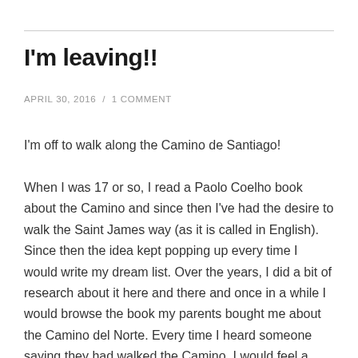I'm leaving!!
APRIL 30, 2016  /  1 COMMENT
I'm off to walk along the Camino de Santiago!
When I was 17 or so, I read a Paolo Coelho book about the Camino and since then I've had the desire to walk the Saint James way (as it is called in English). Since then the idea kept popping up every time I would write my dream list. Over the years, I did a bit of research about it here and there and once in a while I would browse the book my parents bought me about the Camino del Norte. Every time I heard someone saying they had walked the Camino, I would feel a little tug in my heart